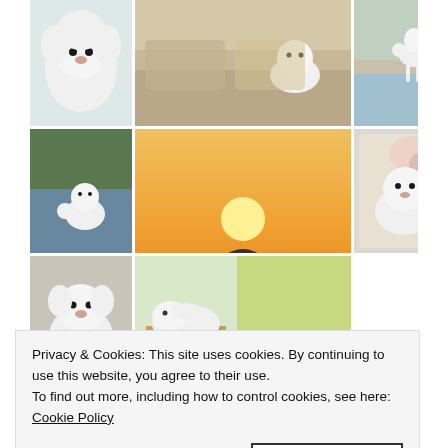[Figure (photo): A 3x3 collage of photos showing various small white fluffy dogs (Bichon Frise/Maltese/Poodle types) in different settings — indoors on sofa, outdoors by water, at sunset, in a basket. The center bottom photo shows a dark curly-haired dog silhouetted against a sunset with text overlay reading 'If the kindest souls were rewarded with the longest lives, dogs would outlive us all.']
Privacy & Cookies: This site uses cookies. By continuing to use this website, you agree to their use.
To find out more, including how to control cookies, see here:
Cookie Policy
Close and accept
Floral Friday: 1st and 3rd Friday of the